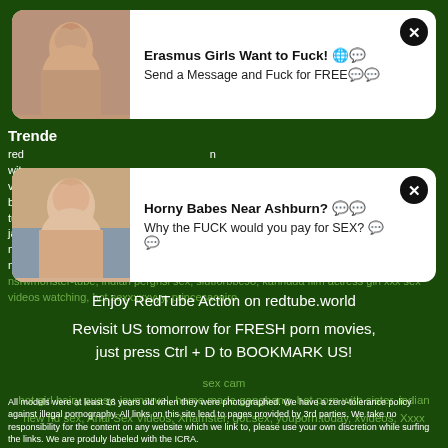[Figure (other): Advertisement popup card 1 with image of woman and text: Erasmus Girls Want to Fuck! Send a Message and Fuck for FREE]
Trende
red...
wit...
vid...
bel...
tub...
jay...
nig...
nak...
nsfwmonster-tube, indian pergnsi sex, slutforbbc98, kannada film actress girl xxx sex videos watching, hot sexxxxxyyy, princesacairo,
[Figure (other): Advertisement popup card 2 with image of woman and text: Horny Babes Near Ashburn? Why the FUCK would you pay for SEX?]
Enjoy RedTube Action on redtube.world
Revisit US tomorrow for FRESH porn movies, just press Ctrl + D to BOOKMARK US!
sex cam
hot girl hairy pussy, jaymarvel, home made gangbang, hot porn with sister, indian new hd sex, Anal Sex Videos, Xhamster, got.sex, youporn.today, xvideos, Xxxx
All models were at least 18 years old when they were photographed. We have a zero-tolerance policy against illegal pornography. All links on this site lead to pages provided by 3rd parties. We take no responsibility for the content on any website which we link to, please use your own discretion while surfing the links. We are produly labeled with the ICRA.